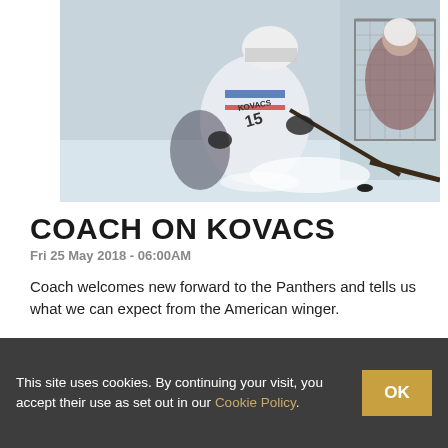[Figure (photo): Ice hockey action photo showing a player in white jersey number 15 (Kovacs) making a play near the goal net with another player]
COACH ON KOVACS
Fri 25 May 2018 - 06:00AM
Coach welcomes new forward to the Panthers and tells us what we can expect from the American winger.
READ MORE
This site uses cookies. By continuing your visit, you accept their use as set out in our Cookie Policy.